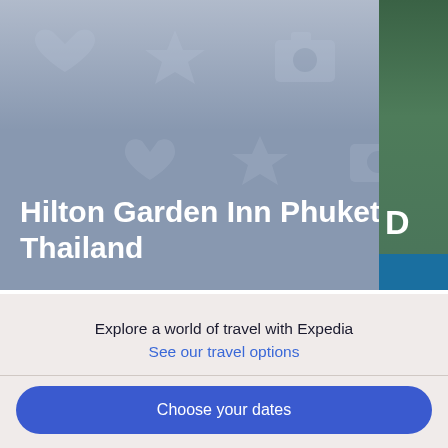[Figure (screenshot): Hotel banner image for Hilton Garden Inn Phuket, Thailand with gray-blue background and travel icon watermarks]
Hilton Garden Inn Phuket, Thailand
5/5 Excellent
"Excellent property and staff! Will visit again!"
A verified traveller stayed at Hilton Garden Inn Phuket, Thailand
Posted 3 days ago
Explore a world of travel with Expedia
See our travel options
Choose your dates